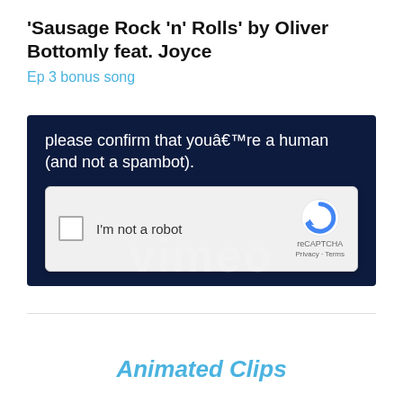'Sausage Rock 'n' Rolls' by Oliver Bottomly feat. Joyce
Ep 3 bonus song
[Figure (screenshot): A screenshot of a dark-themed webpage (likely Vimeo) showing a reCAPTCHA prompt: 'please confirm that youâ€™re a human (and not a spambot).' with a reCAPTCHA checkbox widget showing 'I'm not a robot', the reCAPTCHA logo, Privacy and Terms links, and a faint 'vimeo' watermark in the background.]
Animated Clips